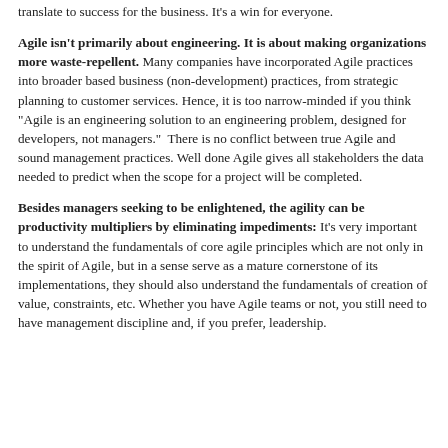translate to success for the business. It's a win for everyone.
Agile isn't primarily about engineering. It is about making organizations more waste-repellent. Many companies have incorporated Agile practices into broader based business (non-development) practices, from strategic planning to customer services. Hence, it is too narrow-minded if you think "Agile is an engineering solution to an engineering problem, designed for developers, not managers."  There is no conflict between true Agile and sound management practices. Well done Agile gives all stakeholders the data needed to predict when the scope for a project will be completed.
Besides managers seeking to be enlightened, the agility can be productivity multipliers by eliminating impediments: It's very important to understand the fundamentals of core agile principles which are not only in the spirit of Agile, but in a sense serve as a mature cornerstone of its implementations, they should also understand the fundamentals of creation of value, constraints, etc. Whether you have Agile teams or not, you still need to have management discipline and, if you prefer, leadership.